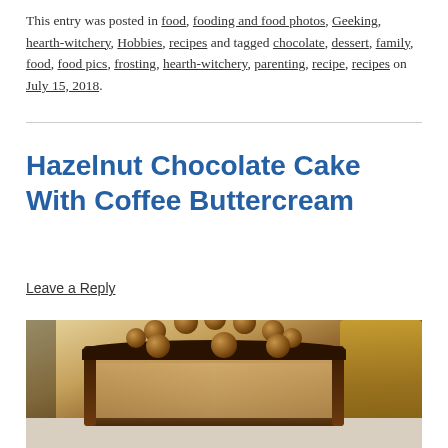This entry was posted in food, fooding and food photos, Geeking, hearth-witchery, Hobbies, recipes and tagged chocolate, dessert, family, food, food pics, frosting, hearth-witchery, parenting, recipe, recipes on July 15, 2018.
Hazelnut Chocolate Cake With Coffee Buttercream
Leave a Reply
[Figure (photo): Photo of a chocolate cake topped with Ferrero Rocher hazelnut balls arranged in a circle, with chocolate ganache drip and tan/cream buttercream frosting on the sides. Bottles visible in the background on the right.]